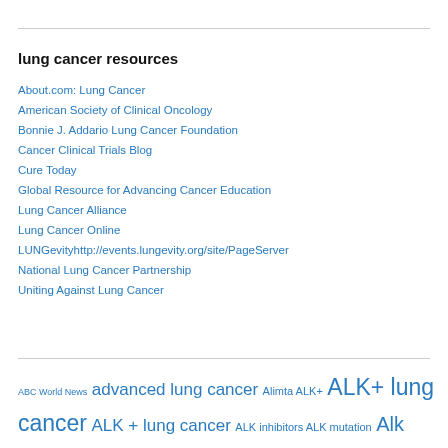lung cancer resources
About.com: Lung Cancer
American Society of Clinical Oncology
Bonnie J. Addario Lung Cancer Foundation
Cancer Clinical Trials Blog
Cure Today
Global Resource for Advancing Cancer Education
Lung Cancer Alliance
Lung Cancer Online
LUNGevityhttp://events.lungevity.org/site/PageServer
National Lung Cancer Partnership
Uniting Against Lung Cancer
ABC World News advanced lung cancer Alimta ALK+ ALK+ lung cancer ALK + lung cancer ALK inhibitors ALK mutation Alk